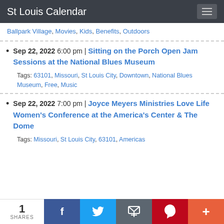St Louis Calendar
Ballpark Village, Movies, Kids, Benefits, Outdoors
Sep 22, 2022 6:00 pm | Sitting on the Porch Open Jam Sessions at the National Blues Museum
Tags: 63101, Missouri, St Louis City, Downtown, National Blues Museum, Free, Music
Sep 22, 2022 7:00 pm | Joyce Meyers Ministries Love Life Women's Conference at the America's Center & The Dome
Tags: Missouri, St Louis City, 63101, Americas
1 SHARES